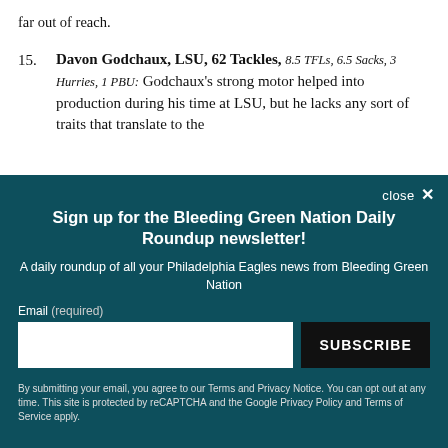far out of reach.
15. Davon Godchaux, LSU, 62 Tackles, 8.5 TFLs, 6.5 Sacks, 3 Hurries, 1 PBU: Godchaux's strong motor helped into production during his time at LSU, but he lacks any sort of traits that translate to the
close ×
Sign up for the Bleeding Green Nation Daily Roundup newsletter!
A daily roundup of all your Philadelphia Eagles news from Bleeding Green Nation
Email (required)
[input field] SUBSCRIBE
By submitting your email, you agree to our Terms and Privacy Notice. You can opt out at any time. This site is protected by reCAPTCHA and the Google Privacy Policy and Terms of Service apply.